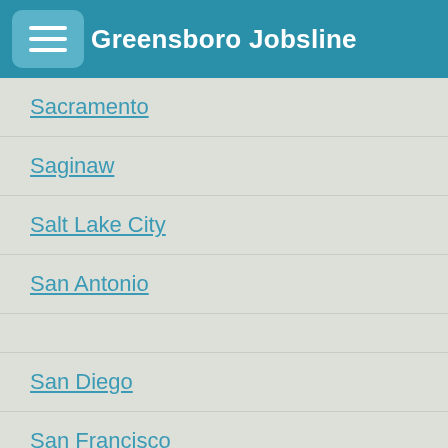Greensboro Jobsline
Sacramento
Saginaw
Salt Lake City
San Antonio
San Diego
San Francisco
San Jose
Savannah
Seattle
Spokane